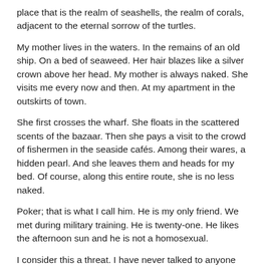place that is the realm of seashells, the realm of corals, adjacent to the eternal sorrow of the turtles.
My mother lives in the waters. In the remains of an old ship. On a bed of seaweed. Her hair blazes like a silver crown above her head. My mother is always naked. She visits me every now and then. At my apartment in the outskirts of town.
She first crosses the wharf. She floats in the scattered scents of the bazaar. Then she pays a visit to the crowd of fishermen in the seaside cafés. Among their wares, a hidden pearl. And she leaves them and heads for my bed. Of course, along this entire route, she is no less naked.
Poker; that is what I call him. He is my only friend. We met during military training. He is twenty-one. He likes the afternoon sun and he is not a homosexual.
I consider this a threat. I have never talked to anyone about my sexual inclination. In fact, I hide it. Even from my few sexual partners. With them, I pretend it is my first such experience.
My sexual partners are night prowlers. Strangers. Poker is not a night prowler. Poker is not a stranger. And this is chipping